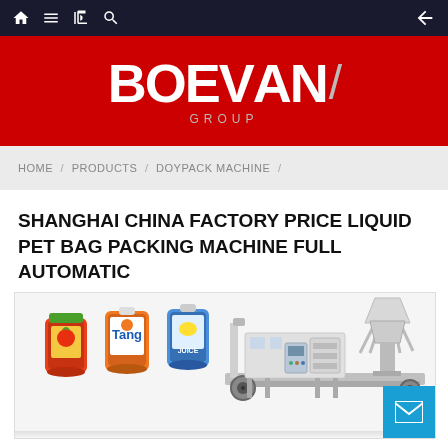Navigation bar with home, menu, book, search icons and back arrow
[Figure (logo): BOEVAV GROUP logo in white on red background]
HOME / PRODUCTS / DOYPACK MACHINE /
SHANGHAI CHINA FACTORY PRICE LIQUID PET BAG PACKING MACHINE FULL AUTOMATIC
[Figure (photo): Product photo showing liquid pet bag packing machine with doypack pouches (tomato, Tang orange, Sprite lemon) and a full automatic packing machine with multihead weigher]